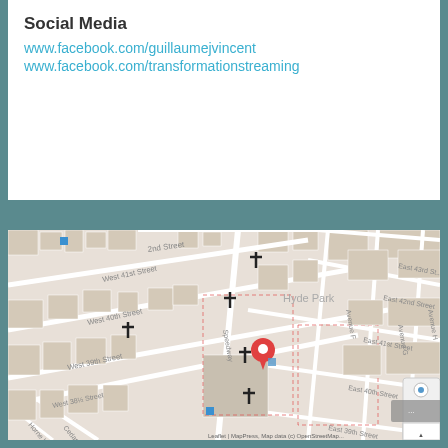Social Media
www.facebook.com/guillaumejvincent
www.facebook.com/transformationstreaming
[Figure (map): Street map showing Hyde Park neighborhood with streets including West 41st Street, West 40th Street, West 39th Street, West 38.5 Street, East 43rd Street, East 42nd Street, East 41st Street, East 40th Street, East 39th Street, Avenue F, Avenue G, Avenue H, Speedway, Cedar Street, Horne Lane, with a red location pin marker and several cross/church markers throughout the area.]